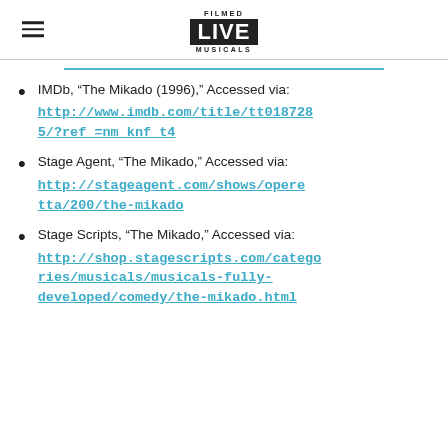FILMED LIVE MUSICALS
IMDb, “The Mikado (1996),” Accessed via: http://www.imdb.com/title/tt0187285/?ref_=nm_knf_t4
Stage Agent, “The Mikado,” Accessed via: http://stageagent.com/shows/operetta/200/the-mikado
Stage Scripts, “The Mikado,” Accessed via: http://shop.stagescripts.com/categories/musicals/musicals-fully-developed/comedy/the-mikado.html